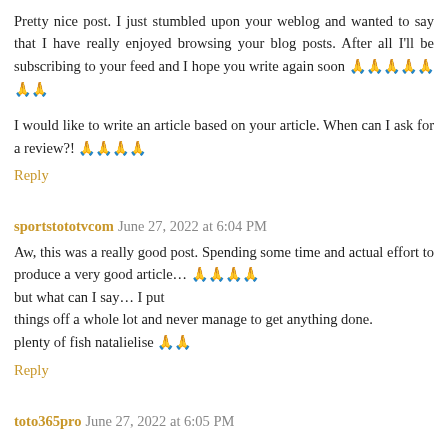Pretty nice post. I just stumbled upon your weblog and wanted to say that I have really enjoyed browsing your blog posts. After all I'll be subscribing to your feed and I hope you write again soon 🙏🙏🙏🙏🙏🙏🙏
I would like to write an article based on your article. When can I ask for a review?! 🙏🙏🙏🙏
Reply
sportstototvcom June 27, 2022 at 6:04 PM
Aw, this was a really good post. Spending some time and actual effort to produce a very good article… 🙏🙏🙏🙏
but what can I say… I put
things off a whole lot and never manage to get anything done.
plenty of fish natalielise 🙏🙏
Reply
toto365pro June 27, 2022 at 6:05 PM